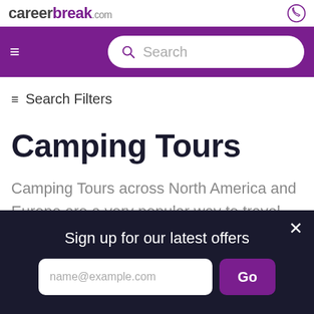careerbreak.com
Search
≡ Search Filters
Camping Tours
Camping Tours across North America and Europe are a very popular way to travel
Sign up for our latest offers
name@example.com
Go